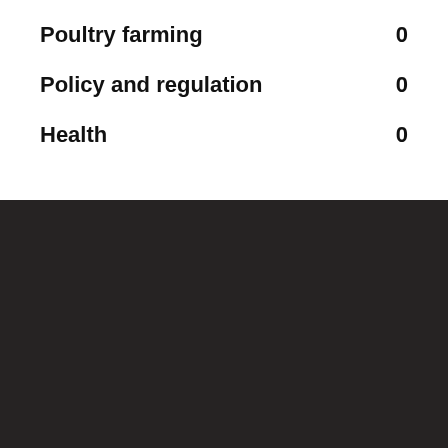Poultry farming   0
Policy and regulation   0
Health   0
[Figure (logo): Yellow square logo with a brown illustrated rooster/chicken head facing right]